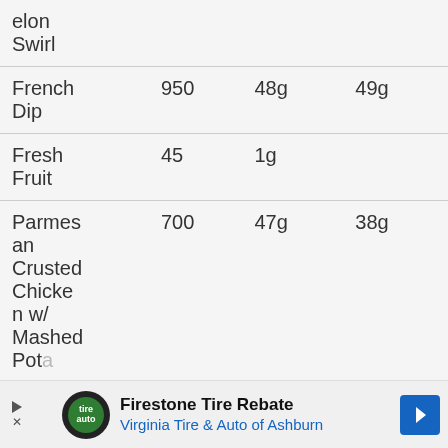| Item | Calories | Fat | Protein |
| --- | --- | --- | --- |
| elon Swirl |  |  |  |
| French Dip | 950 | 48g | 49g |
| Fresh Fruit | 45 | 1g |  |
| Parmesan Crusted Chicken w/ Mashed Potatoes | 700 | 47g | 38g |
[Figure (other): Advertisement banner for Firestone Tire Rebate - Virginia Tire & Auto of Ashburn]